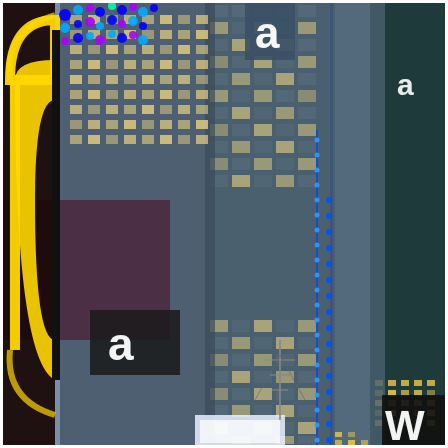[Figure (photo): Urban nighttime/dusk cityscape photograph of Times Square area in New York City. The scene shows tall glass skyscrapers and buildings lit with interior lights against a blue-grey dusk sky. On the left side is a bright yellow neon sign. Multiple Amazon lowercase 'a' logos are visible on various buildings and signs throughout the image. Blue LED accent lighting runs vertically along the central skyscraper. On the far right, a partial 'W' letter sign is visible in white on a dark background. The overall color palette is deep blue-grey sky, warm amber building lights, bright yellow neon, and scattered blue LED accents.]